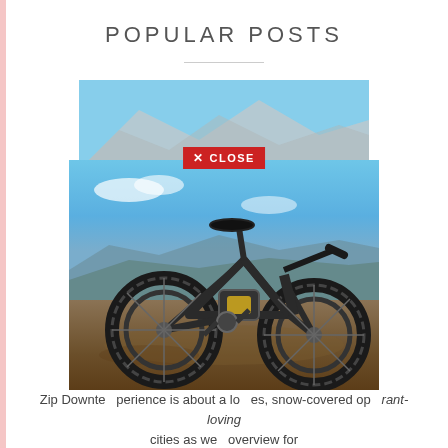POPULAR POSTS
[Figure (photo): A fat-tire electric mountain bike parked on rocky red dirt terrain with blue sky, distant mountains and ocean in the background. A 'X CLOSE' red button overlay is visible on the image.]
Zip ... es
Zip Downte... perience is about a lo... es, snow-covered op... rant-loving cities as we... overview for taking a trip the